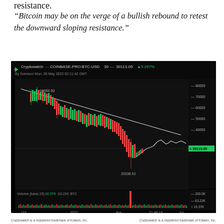resistance.
“Bitcoin may be on the verge of a bullish rebound to retest the downward sloping resistance.”
[Figure (screenshot): Cryptowatch chart showing COINBASE-PRO:BTC-USD 30-minute candlestick chart. Price at 30113.05, up 5.297%. By Svenson Mon, 30 May 2022 02:11:42 GMT. Shows BTC/USD price from Oct 2021 to Jul 2022, with a downward sloping resistance trendline from ~69000 down. Low of 25338.53 marked. Volume panel below showing 16.37K to 63.22K BTC range, with spike near 21:48:19.]
Cryptowatch is a registered trademark of Kraken, Inc.